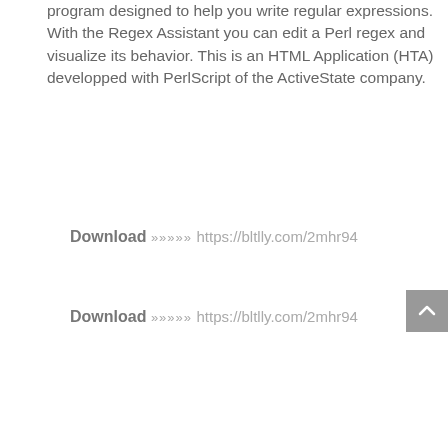program designed to help you write regular expressions.
With the Regex Assistant you can edit a Perl regex and visualize its behavior. This is an HTML Application (HTA) developped with PerlScript of the ActiveState company.
Download »»»»» https://bltlly.com/2mhr94
Download »»»»» https://bltlly.com/2mhr94